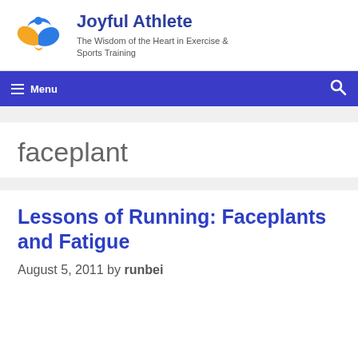[Figure (logo): Joyful Athlete logo: abstract figure with blue and orange/yellow wing shapes]
Joyful Athlete
The Wisdom of the Heart in Exercise & Sports Training
Menu
faceplant
Lessons of Running: Faceplants and Fatigue
August 5, 2011 by runbei